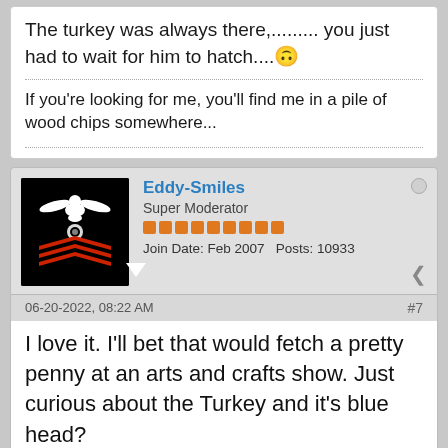The turkey was always there,......... you just had to wait for him to hatch.... 🙂
If you're looking for me, you'll find me in a pile of wood chips somewhere...
Eddy-Smiles
Super Moderator
Join Date: Feb 2007   Posts: 10933
06-20-2022, 08:22 AM
#7
I love it. I'll bet that would fetch a pretty penny at an arts and crafts show. Just curious about the Turkey and it's blue head?